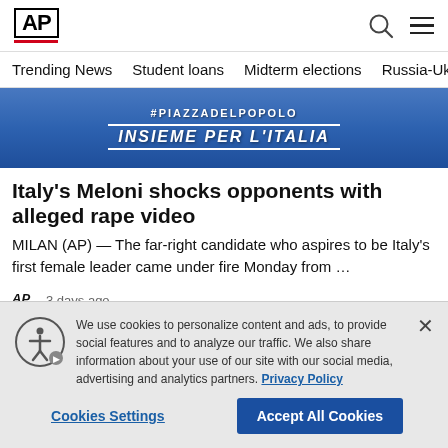AP
Trending News   Student loans   Midterm elections   Russia-Ukr
[Figure (photo): Blue rally banner reading #PIAZZADELPOPOLO and INSIEME PER L'ITALIA]
Italy's Meloni shocks opponents with alleged rape video
MILAN (AP) — The far-right candidate who aspires to be Italy's first female leader came under fire Monday from …
AP  3 days ago
We use cookies to personalize content and ads, to provide social features and to analyze our traffic. We also share information about your use of our site with our social media, advertising and analytics partners. Privacy Policy
Cookies Settings   Accept All Cookies